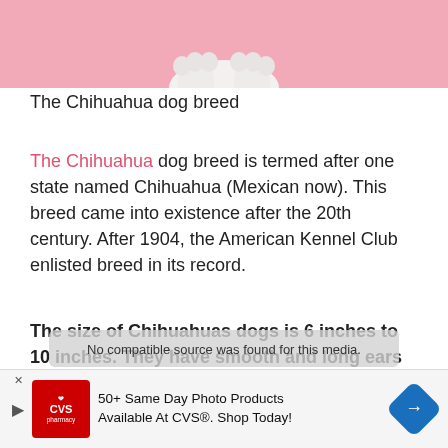[Figure (photo): Top portion of a Chihuahua dog photo with pink background, showing paws at the bottom edge of the crop]
The Chihuahua dog breed
The Chihuahua dog breed is termed after one state named Chihuahua (Mexican now). This breed came into existence after the 20th century. After 1904, the American Kennel Club enlisted breed in its record.
The size of Chihuahuas dogs is 6 inches to 10 inches. They have smooth and long ears that are adorable.
[Figure (screenshot): Advertisement banner for CVS pharmacy: '50+ Same Day Photo Products Available At CVS®. Shop Today!' with CVS logo and blue diamond arrow logo]